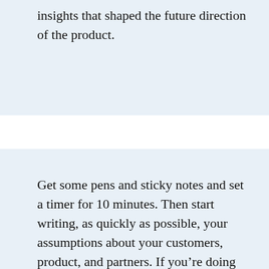insights that shaped the future direction of the product.
Get some pens and sticky notes and set a timer for 10 minutes. Then start writing, as quickly as possible, your assumptions about your customers, product, and partners. If you’re doing this as a group exercise (and I hope you are), don’t stop and discuss during the 10 minutes. The point isn’t to write what you think is correct; it’s to unlock the mostly unspoken